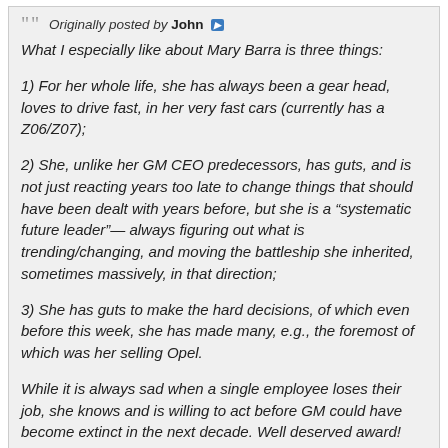Originally posted by John
What I especially like about Mary Barra is three things:
1) For her whole life, she has always been a gear head, loves to drive fast, in her very fast cars (currently has a Z06/Z07);
2) She, unlike her GM CEO predecessors, has guts, and is not just reacting years too late to change things that should have been dealt with years before, but she is a “systematic future leader”— always figuring out what is trending/changing, and moving the battleship she inherited, sometimes massively, in that direction;
3) She has guts to make the hard decisions, of which even before this week, she has made many, e.g., the foremost of which was her selling Opel.
While it is always sad when a single employee loses their job, she knows and is willing to act before GM could have become extinct in the next decade. Well deserved award!
Well said. I agree she seems to be doing a great job. May not always be popular when you make the tough decisions